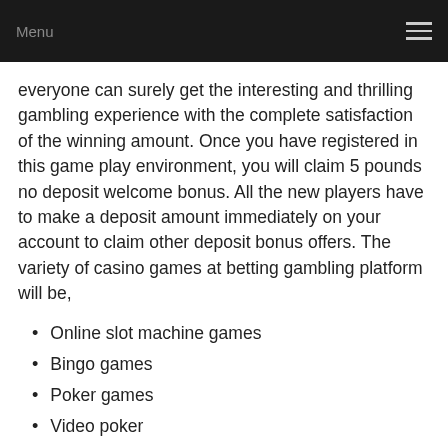Menu
everyone can surely get the interesting and thrilling gambling experience with the complete satisfaction of the winning amount. Once you have registered in this game play environment, you will claim 5 pounds no deposit welcome bonus. All the new players have to make a deposit amount immediately on your account to claim other deposit bonus offers. The variety of casino games at betting gambling platform will be,
Online slot machine games
Bingo games
Poker games
Video poker
Sports games
Lotto games